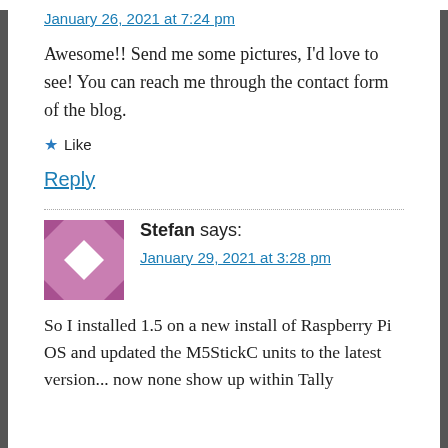January 26, 2021 at 7:24 pm
Awesome!! Send me some pictures, I’d love to see! You can reach me through the contact form of the blog.
★ Like
Reply
Stefan says:
January 29, 2021 at 3:28 pm
So I installed 1.5 on a new install of Raspberry Pi OS and updated the M5StickC units to the latest version... now none show up within Tally